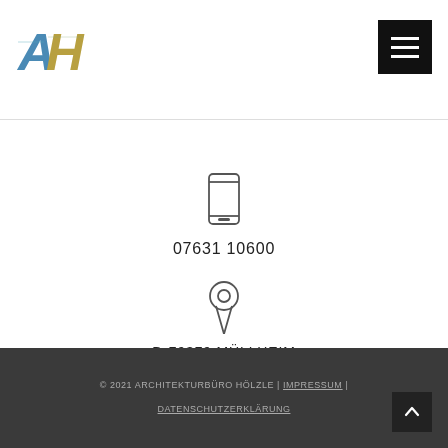Architekturbüro Hölzle logo and navigation menu
[Figure (logo): AH logo mark with stylized letters A and H with building/cityscape imagery]
07631 10600
D-79379 MÜLLHEIM
POST@ARCHITEKT-HOELZLE.DE
© 2021 ARCHITEKTURBÜRO HÖLZLE | IMPRESSUM | DATENSCHUTZERKLÄRUNG